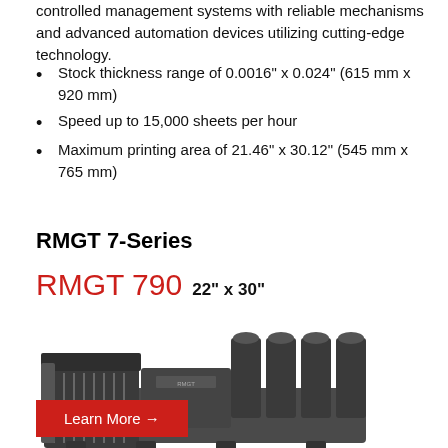controlled management systems with reliable mechanisms and advanced automation devices utilizing cutting-edge technology.
Stock thickness range of 0.0016" x 0.024" (615 mm x 920 mm)
Speed up to 15,000 sheets per hour
Maximum printing area of 21.46" x 30.12" (545 mm x 765 mm)
RMGT 7-Series
RMGT 790 22" x 30"
[Figure (photo): Industrial offset printing press machine, RMGT 790, dark grey, side view showing feeder and printing units]
Learn More →